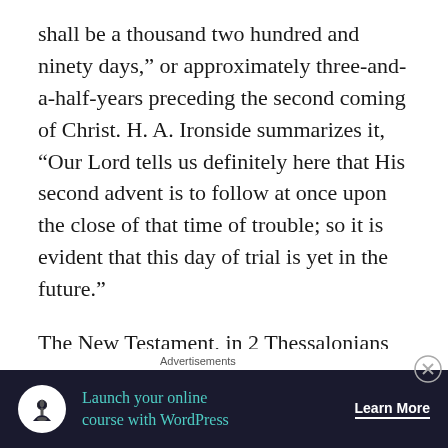shall be a thousand two hundred and ninety days,” or approximately three-and-a-half-years preceding the second coming of Christ. H. A. Ironside summarizes it, “Our Lord tells us definitely here that His second advent is to follow at once upon the close of that time of trouble; so it is evident that this day of trial is yet in the future.”
The New Testament, in 2 Thessalonians 2:4, describes the same period, with the ruler setting himself up as God in the temple. Revelation 13:14-15 also records that an image of the ruler
Advertisements
[Figure (other): Advertisement banner with dark navy background showing a tree/person icon, text 'Launch your online course with WordPress' in teal, and a 'Learn More' button in white.]